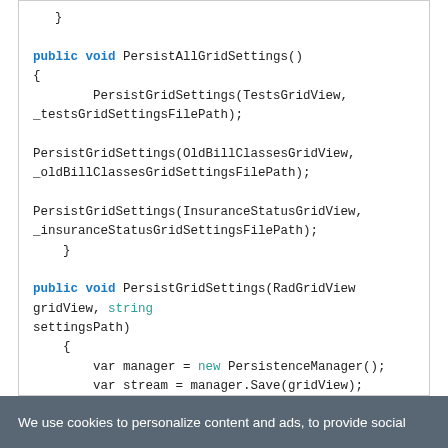}        public void PersistAllGridSettings()        {            PersistGridSettings(TestsGridView, _testsGridSettingsFilePath);            PersistGridSettings(OldBillClassesGridView, _oldBillClassesGridSettingsFilePath);            PersistGridSettings(InsuranceStatusGridView, _insuranceStatusGridSettingsFilePath);        }        public void PersistGridSettings(RadGridView gridView, string settingsPath)        {            var manager = new PersistenceManager();            var stream = manager.Save(gridView);
We use cookies to personalize content and ads, to provide social